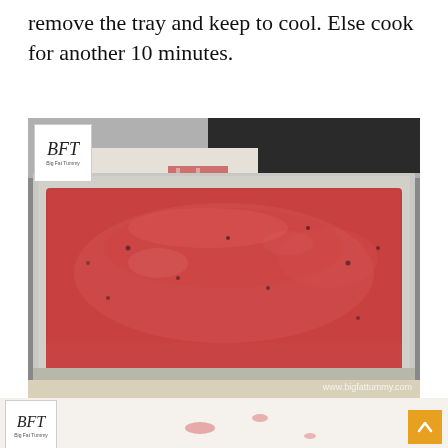remove the tray and keep to cool. Else cook for another 10 minutes.
[Figure (photo): A meatloaf in a rectangular metal baking tray, topped with tomato sauce, with a BFT logo watermark in the top left corner and website URL in the bottom right. Photographed from above at an angle.]
[Figure (photo): Partial view of another food photo with BFT logo in top left, showing a light-colored surface with some red sauce traces.]